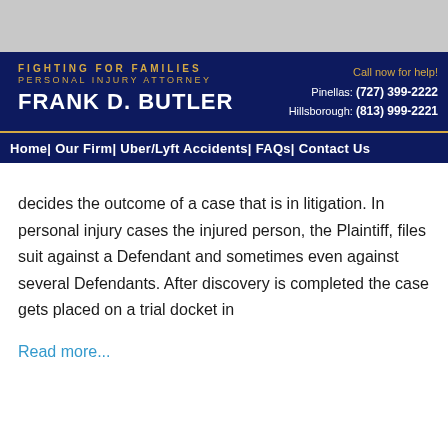[Figure (logo): Frank D. Butler law firm header with dark navy background, golden text 'FIGHTING FOR FAMILIES / PERSONAL INJURY ATTORNEY' and white bold text 'FRANK D. BUTLER', with call to action and phone numbers on the right.]
Home | Our Firm | Uber/Lyft Accidents | FAQs | Contact Us
decides the outcome of a case that is in litigation. In personal injury cases the injured person, the Plaintiff, files suit against a Defendant and sometimes even against several Defendants. After discovery is completed the case gets placed on a trial docket in
Read more...